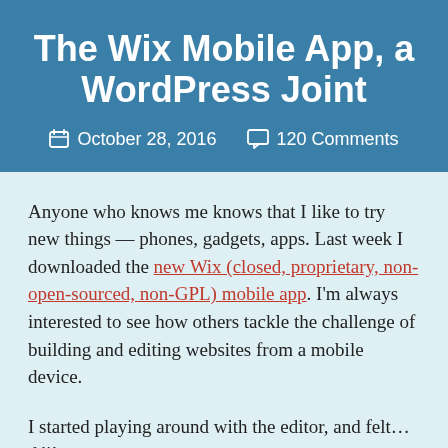The Wix Mobile App, a WordPress Joint
October 28, 2016   120 Comments
Anyone who knows me knows that I like to try new things — phones, gadgets, apps. Last week I downloaded the new Wix (closed, proprietary, non-open-sourced, non-GPL) mobile app. I'm always interested to see how others tackle the challenge of building and editing websites from a mobile device.
I started playing around with the editor, and felt… déjà